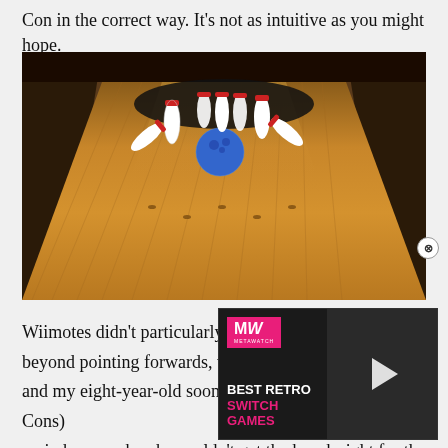Con in the correct way. It’s not as intuitive as you might hope.
[Figure (photo): A bowling alley lane perspective showing a blue bowling ball striking bowling pins, scattering them, with the polished wooden lane in the foreground and dark gutters on the sides.]
[Figure (screenshot): A video overlay from Metawatch (MW) showing animated characters with the title BEST RETRO SWITCH GAMES and a play button.]
Wiimotes didn’t particularly hav beyond pointing forwards, while and my eight-year-old soon threw his arms (and Joy-Cons) up in horror when he couldn’t get the knack right for the